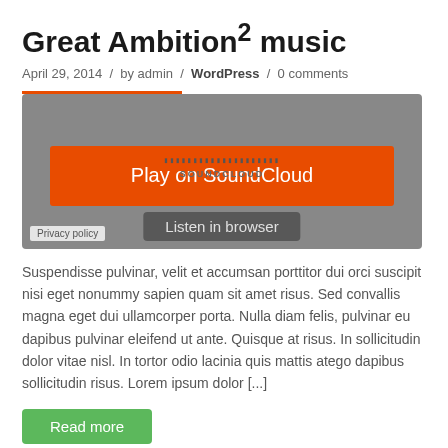Great Ambition² music
April 29, 2014  /  by admin  /  WordPress  /  0 comments
[Figure (screenshot): SoundCloud embedded player widget with orange 'Play on SoundCloud' button and 'Listen in browser' button on grey background. Privacy policy label in bottom left corner.]
Suspendisse pulvinar, velit et accumsan porttitor dui orci suscipit nisi eget nonummy sapien quam sit amet risus. Sed convallis magna eget dui ullamcorper porta. Nulla diam felis, pulvinar eu dapibus pulvinar eleifend ut ante. Quisque at risus. In sollicitudin dolor vitae nisl. In tortor odio lacinia quis mattis atego dapibus sollicitudin risus. Lorem ipsum dolor [...]
Read more